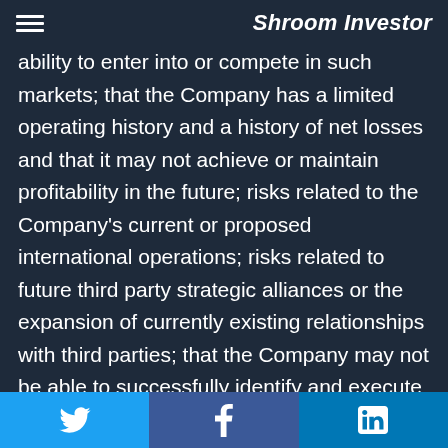Shroom Investor
ability to enter into or compete in such markets; that the Company has a limited operating history and a history of net losses and that it may not achieve or maintain profitability in the future; risks related to the Company's current or proposed international operations; risks related to future third party strategic alliances or the expansion of currently existing relationships with third parties; that the Company may not be able to successfully identify and execute future acquisitions or dispositions or successfully manage the impacts of such transactions on its operations; risks inherent to the operation of an agricultural business; that the
Twitter | Facebook | LinkedIn